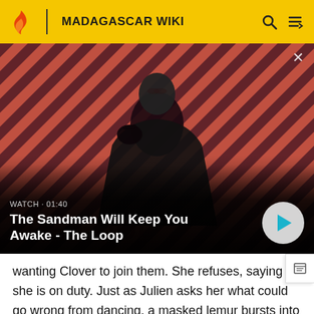MADAGASCAR WIKI
[Figure (screenshot): Video thumbnail showing a dark figure with a raven on shoulder against a red and dark diagonal striped background. Title: The Sandman Will Keep You Awake - The Loop. Watch duration 01:40 shown.]
wanting Clover to join them. She refuses, saying she is on duty. Just as Julien asks her what could go wrong from dancing, a masked lemur bursts into the plane. Clover fights him, until he surrenders, giving her an invitation. Clover immediately knows what this is and stands there,